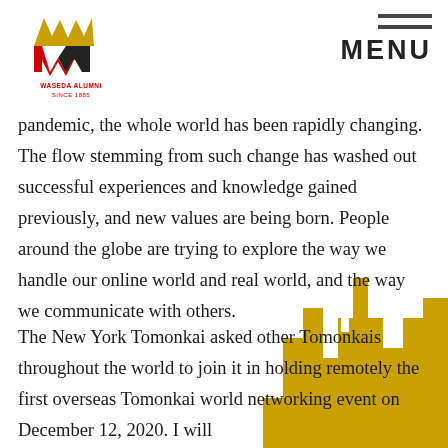[Figure (logo): Waseda Alumni logo with crown and W emblem, text 'WASEDA ALUMNI SINCE 1885']
MENU
pandemic, the whole world has been rapidly changing. The flow stemming from such change has washed out successful experiences and knowledge gained previously, and new values are being born. People around the globe are trying to explore the way we handle our online world and real world, and the way we communicate with others.
The New York Tomonkai asked other Tomonkais throughout the world to join it in holding remotely the first overseas Tomonkai world networking event on December 12, 2020. I will
[Figure (illustration): Gold decorative castle/building silhouette shape in bottom-right corner]